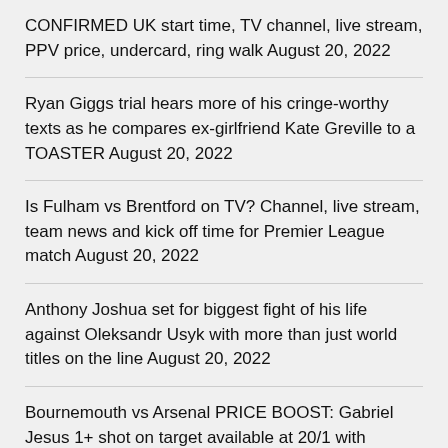CONFIRMED UK start time, TV channel, live stream, PPV price, undercard, ring walk August 20, 2022
Ryan Giggs trial hears more of his cringe-worthy texts as he compares ex-girlfriend Kate Greville to a TOASTER August 20, 2022
Is Fulham vs Brentford on TV? Channel, live stream, team news and kick off time for Premier League match August 20, 2022
Anthony Joshua set for biggest fight of his life against Oleksandr Usyk with more than just world titles on the line August 20, 2022
Bournemouth vs Arsenal PRICE BOOST: Gabriel Jesus 1+ shot on target available at 20/1 with William Hill special odds August 20,